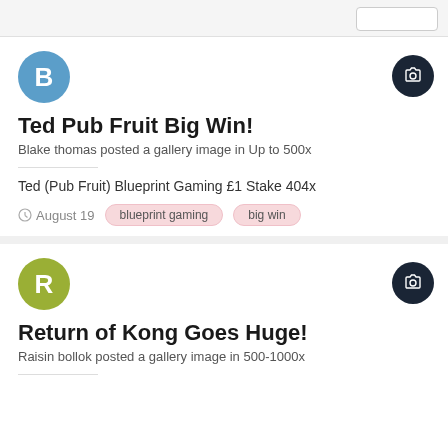Ted Pub Fruit Big Win!
Blake thomas posted a gallery image in Up to 500x
Ted (Pub Fruit) Blueprint Gaming £1 Stake 404x
August 19   blueprint gaming   big win
Return of Kong Goes Huge!
Raisin bollok posted a gallery image in 500-1000x